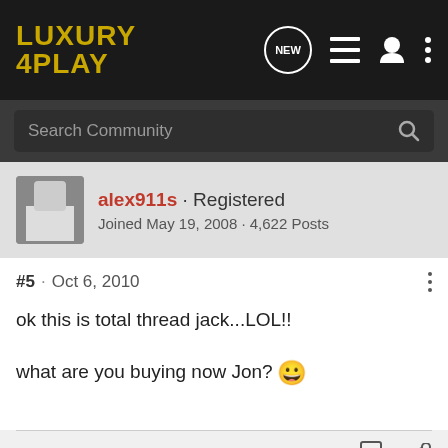LUXURY 4PLAY
Search Community
alex911s · Registered
Joined May 19, 2008 · 4,622 Posts
#5 · Oct 6, 2010
ok this is total thread jack...LOL!!
what are you buying now Jon? 😀